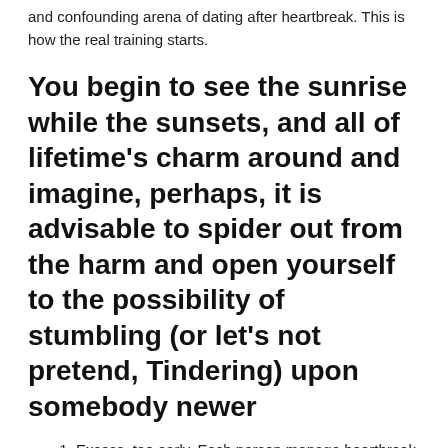and confounding arena of dating after heartbreak. This is how the real training starts.
You begin to see the sunrise while the sunsets, and all of lifetime's charm around and imagine, perhaps, it is advisable to spider out from the harm and open yourself to the possibility of stumbling (or let's not pretend, Tindering) upon somebody newer
Excess, too early. Each person manage heartbreak in different ways. Some travel forward inside unknown, organizing care into wind, and scoop within the very first individual that try ready to fill the openings getting